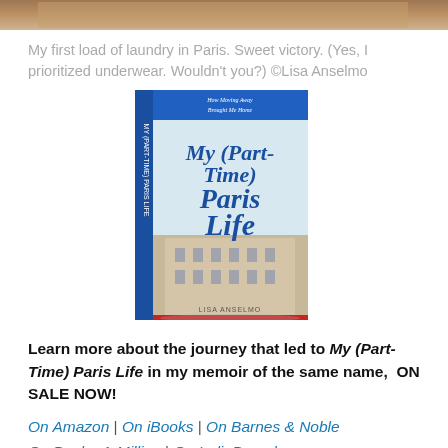[Figure (photo): Partial photo strip at top of page showing what appears to be laundry or a tiled surface]
My first load of laundry in Paris. Sweet victory. (Yes, I prioritized underwear. Wouldn't you?) ©Lisa Anselmo
[Figure (photo): Book cover image of 'My (Part-Time) Paris Life' by Lisa Anselmo — a memoir with blue spine and Parisian building on cover]
Learn more about the journey that led to My (Part-Time) Paris Life in my memoir of the same name,  ON SALE NOW!
On Amazon | On iBooks | On Barnes & Noble
On Books-A-Million | On IndieBound